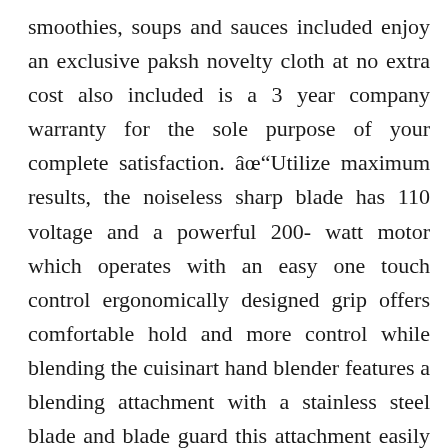smoothies, soups and sauces included enjoy an exclusive paksh novelty cloth at no extra cost also included is a 3 year company warranty for the sole purpose of your complete satisfaction. âœ"Utilize maximum results, the noiseless sharp blade has 110 voltage and a powerful 200- watt motor which operates with an easy one touch control ergonomically designed grip offers comfortable hold and more control while blending the cuisinart hand blender features a blending attachment with a stainless steel blade and blade guard this attachment easily snaps into the motor body housing the stainless blade is partially covered by a stainless housing that thankfully keeps splashing with your drink mixer minimal your cuisinart blender is the best smoothie blender you will ever own. âœ" Pomand blender you can use the best blender...